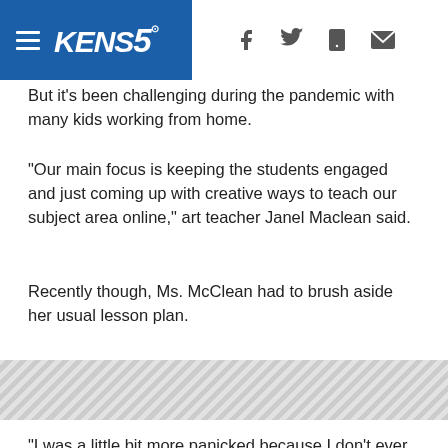KENS5 navigation header with hamburger menu, KENS5 logo, and social icons (Facebook, Twitter, mobile, email)
But it's been challenging during the pandemic with many kids working from home.
"Our main focus is keeping the students engaged and just coming up with creative ways to teach our subject area online," art teacher Janel Maclean said.
Recently though, Ms. McClean had to brush aside her usual lesson plan.
[Figure (other): Diagonal striped advertisement banner placeholder]
"I was a little bit more panicked because I don't ever deal with a situation like this," she said.
By all accounts, 11-year-old Kaleb Greenough is one of Parkwood's better students. But on that day, he was late getting online for class after his grandmother had an